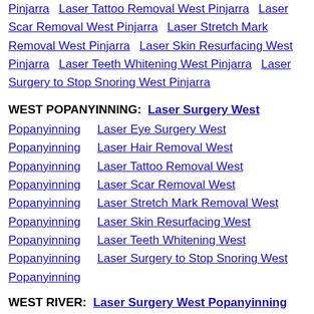Pinjarra  Laser Tattoo Removal West Pinjarra  Laser Scar Removal West Pinjarra  Laser Stretch Mark Removal West Pinjarra  Laser Skin Resurfacing West Pinjarra  Laser Teeth Whitening West Pinjarra  Laser Surgery to Stop Snoring West Pinjarra
WEST POPANYINNING:
Laser Surgery West Popanyinning  Laser Eye Surgery West Popanyinning  Laser Hair Removal West Popanyinning  Laser Tattoo Removal West Popanyinning  Laser Scar Removal West Popanyinning  Laser Stretch Mark Removal West Popanyinning  Laser Skin Resurfacing West Popanyinning  Laser Teeth Whitening West Popanyinning  Laser Surgery to Stop Snoring West Popanyinning
WEST RIVER: